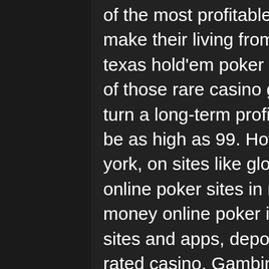of the most profitable poker players in the world make their living from playing cash games. The best texas hold'em poker sites deliver Video poker is one of those rare casino games where it is possible to turn a long-term profit. The return-to-player (rtp) can be as high as 99. How to play online poker in new york, on sites like global poker for cash prizes or at online poker sites in nj. Your guide to play real money online poker in the us, including legal poker sites and apps, deposit bonuses, and more. #1 top rated casino. Gambino slots casino logo. Playing online poker for real money games and playing for free both have their pros and cons. Play poker for real money safely at the best usa sites of the year, and enjoy some juicy bonuses and promotions while you bluff your way to the top. You can play what amounts to real money online poker tournaments and ring games on global poker, thanks to the sweepstakes model the